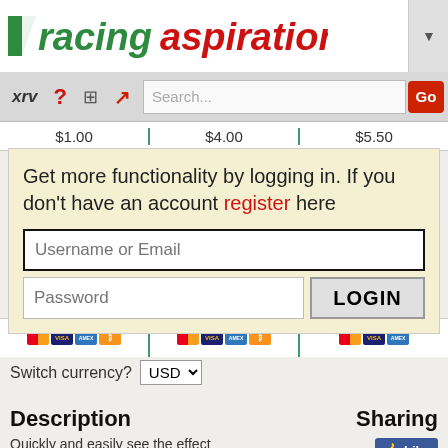[Figure (logo): Racing Aspirations logo with green/white chevron and red/green text]
xrv ? [calculator] [arrow] Search... Go
$1.00   $4.00   $5.50
Get more functionality by logging in. If you don't have an account register here
Username or Email
Password
LOGIN
Switch currency? USD
Description
Sharing
Quickly and easily see the effect...